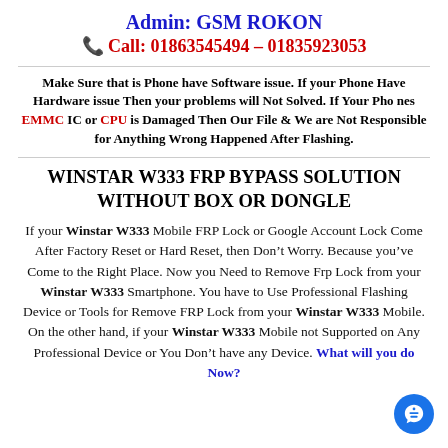Admin: GSM ROKON
📞 Call: 01863545494 – 01835923053
Make Sure that is Phone have Software issue. If your Phone Have Hardware issue Then your problems will Not Solved. If Your Phones EMMC IC or CPU is Damaged Then Our File & We are Not Responsible for Anything Wrong Happened After Flashing.
WINSTAR W333 FRP BYPASS SOLUTION WITHOUT BOX OR DONGLE
If your Winstar W333 Mobile FRP Lock or Google Account Lock Come After Factory Reset or Hard Reset, then Don't Worry. Because you've Come to the Right Place. Now you Need to Remove Frp Lock from your Winstar W333 Smartphone. You have to Use Professional Flashing Device or Tools for Remove FRP Lock from your Winstar W333 Mobile. On the other hand, if your Winstar W333 Mobile not Supported on Any Professional Device or You Don't have any Device. What will you do Now?